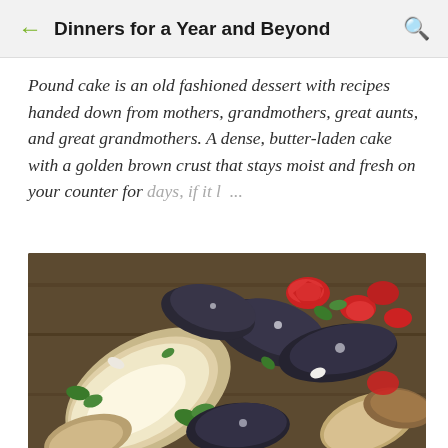← Dinners for a Year and Beyond 🔍
Pound cake is an old fashioned dessert with recipes handed down from mothers, grandmothers, great aunts, and great grandmothers. A dense, butter-laden cake with a golden brown crust that stays moist and fresh on your counter for days, if it l ...
[Figure (photo): Close-up photo of garlic clams and mussels on the grill with tomatoes and herbs]
Garlic Clams and Mussels on the Grill
Everyone has a favorite meal. It's the meal that is enjoyed so